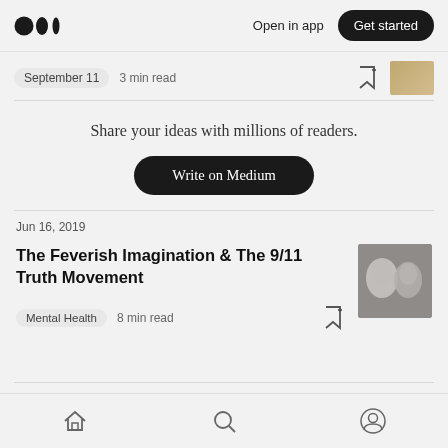Medium logo | Open in app | Get started
September 11  3 min read
Share your ideas with millions of readers.
Write on Medium
Jun 16, 2019
The Feverish Imagination & The 9/11 Truth Movement
Mental Health   8 min read
Jun 1, 2019